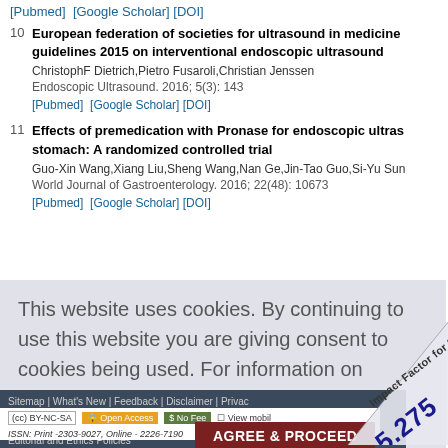[Pubmed]  [Google Scholar] [DOI]
10  European federation of societies for ultrasound in medicine guidelines 2015 on interventional endoscopic ultrasound
ChristophF Dietrich,Pietro Fusaroli,Christian Jenssen
Endoscopic Ultrasound. 2016; 5(3): 143
[Pubmed]  [Google Scholar] [DOI]
11  Effects of premedication with Pronase for endoscopic ultras... stomach: A randomized controlled trial
Guo-Xin Wang,Xiang Liu,Sheng Wang,Nan Ge,Jin-Tao Guo,Si-Yu Sun
World Journal of Gastroenterology. 2016; 22(48): 10673
[Pubmed]  [Google Scholar] [DOI]
This website uses cookies. By continuing to use this website you are giving consent to cookies being used. For information on cookies and how you can disable them visit our
Privacy and Cookie Policy.
Sitemap | What's New | Feedback | Disclaimer | Privac...
© Spring Media Publishing Co. Ltd | Published by Wolters ...
Online since 20 August, 2013
Editorial and Ethics Policies
AGREE & PROCEED
(cc) BY-NC-SA  Open Access  $ No Fee  View mobile
ISSN: Print -2303-9027, Online - 2226-7190
[Figure (other): Impact Factor for 2021 badge showing 5.275, diagonal banner overlay on bottom right corner]